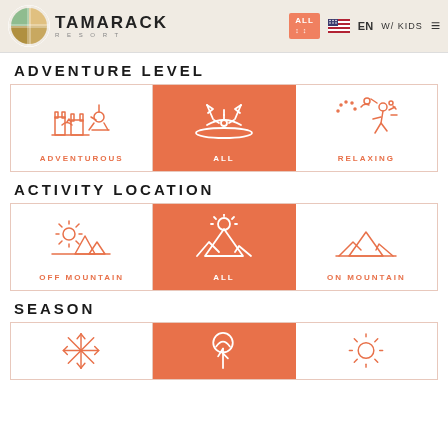TAMARACK RESORT — ALL | EN | W/ KIDS
ADVENTURE LEVEL
[Figure (infographic): Adventure level filter with three options: ADVENTUROUS (outline icon), ALL (kayak icon, orange/selected), RELAXING (relaxing hiker icon)]
ACTIVITY LOCATION
[Figure (infographic): Activity location filter with three options: OFF MOUNTAIN (landscape icon), ALL (mountain sunrise icon, orange/selected), ON MOUNTAIN (mountain peaks icon)]
SEASON
[Figure (infographic): Season filter row partially visible with snowflake, tree/fall, and sun icons]